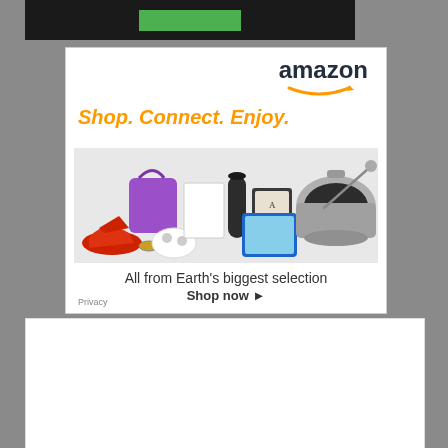[Figure (screenshot): Top dark banner with green button]
[Figure (screenshot): Amazon advertisement: 'Shop. Connect. Enjoy.' with product collage showing sneakers, purple bag, Xbox controller, Amazon Echo, white appliance, Kindle e-reader, Fire tablet, slow cooker. Text reads 'All from Earth's biggest selection' and 'Shop now'. Privacy link in bottom left. Amazon logo top right.]
[Figure (screenshot): Bottom white empty box area]